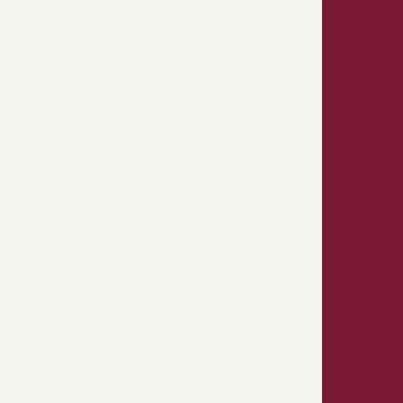in the Insolvency and Trustee Services Public Notices
Bankruptcies
Bankruptcies
The official assignee advises the following bankruptcies:
Aerakis, Georgios Manoli, 158 Cranford Street, St Albans, Christchurch – 20 July 2015.
Beydoun, Nasser Hussein, 10 Leadenham Place, Chirn...